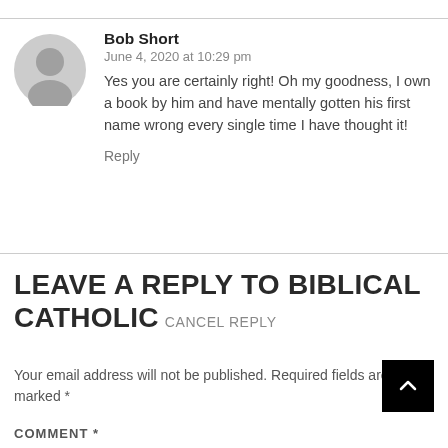Bob Short
June 4, 2020 at 10:29 pm
Yes you are certainly right! Oh my goodness, I own a book by him and have mentally gotten his first name wrong every single time I have thought it!
Reply
LEAVE A REPLY TO BIBLICAL CATHOLIC CANCEL REPLY
Your email address will not be published. Required fields are marked *
COMMENT *